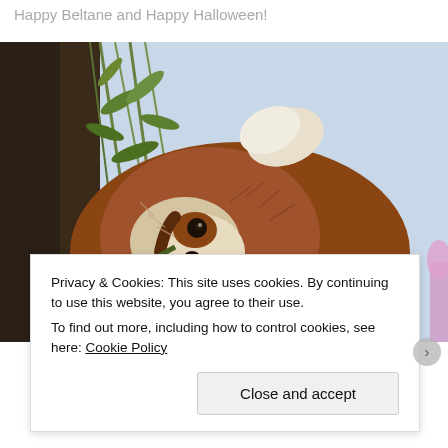Happy Beltane and Happy Halloween!
[Figure (photo): A red panda peeking over a tree branch with green bamboo leaves in the background, photographed from close up showing its distinctive brown and white fur face and ear tufts.]
Privacy & Cookies: This site uses cookies. By continuing to use this website, you agree to their use.
To find out more, including how to control cookies, see here: Cookie Policy
Close and accept